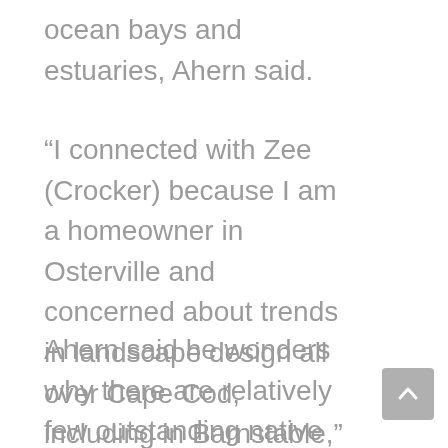ocean bays and estuaries, Ahern said.
“I connected with Zee (Crocker) because I am a homeowner in Osterville and concerned about trends in landscape design all over Cape Cod, including in Barnstable,” Ahern said.
Ahern said he wonders why there are relatively few outstanding native plant landscape designs